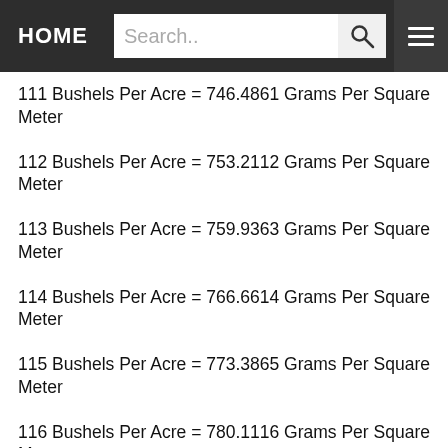HOME | Search..
111 Bushels Per Acre = 746.4861 Grams Per Square Meter
112 Bushels Per Acre = 753.2112 Grams Per Square Meter
113 Bushels Per Acre = 759.9363 Grams Per Square Meter
114 Bushels Per Acre = 766.6614 Grams Per Square Meter
115 Bushels Per Acre = 773.3865 Grams Per Square Meter
116 Bushels Per Acre = 780.1116 Grams Per Square Meter
117 Bushels Per Acre = 786.8367 Grams Per Square Meter
118 Bushels Per Acre = 793.5618 Grams Per Square Meter
119 Bushels Per Acre = 800.2869 Grams Per Square Meter
120 Bushels Per Acre = 807.012 Grams Per Square Meter
121 Bushels Per Acre = 813.7371 Grams Per Square Meter